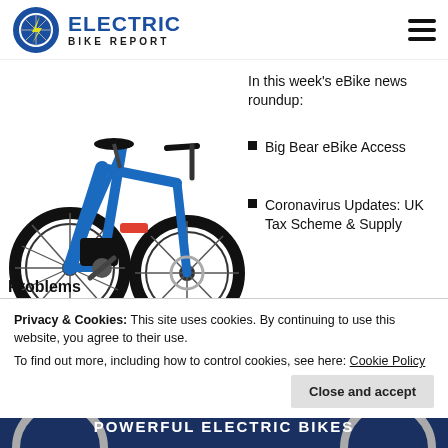[Figure (logo): Electric Bike Report logo with blue bicycle wheel icon and lightning bolt, text ELECTRIC BIKE REPORT]
[Figure (photo): Blue electric bicycle (e-bike) with red accent, black wheels, disc brakes, mid-drive motor]
In this week's eBike news roundup:
Big Bear eBike Access
Coronavirus Updates: UK Tax Scheme & Supply
Problems
Privacy & Cookies: This site uses cookies. By continuing to use this website, you agree to their use.
To find out more, including how to control cookies, see here: Cookie Policy
[Figure (illustration): Bottom banner with dark blue background showing partial bicycle wheels and text POWERFUL ELECTRIC BIKES]